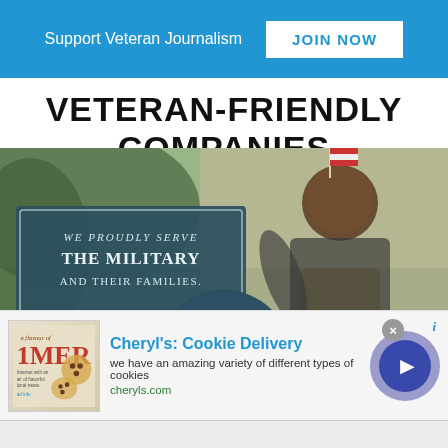Support Veteran Journalism  JOIN NOW
VETERAN-FRIENDLY COMPANIES
[Figure (photo): USAA advertisement showing a smiling child holding an American flag outdoors, with a dark teal sign reading 'WE PROUDLY SERVE THE MILITARY AND THEIR FAMILIES.' and the USAA logo in a dark teal circle at the bottom center.]
[Figure (infographic): Advertisement for Cheryl's Cookie Delivery with image of cookies, text 'Cheryl's: Cookie Delivery', 'we have an amazing variety of different types of cookies', 'cheryls.com', a close button (X), and a play button on the right.]